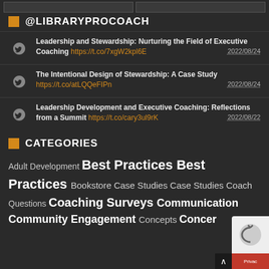@LIBRARYPROCOACH
Leadership and Stewardship: Nurturing the Field of Executive Coaching https://t.co/7xgW2kpl6E 2022/08/24
The Intentional Design of Stewardship: A Case Study https://t.co/atLQQeFIPn 2022/08/24
Leadership Development and Executive Coaching: Reflections from a Summit https://t.co/cary3ul9rK 2022/08/22
CATEGORIES
Adult Development Best Practices Best Practices Bookstore Case Studies Case Studies Coaching Questions Coaching Surveys Communication Community Engagement Concepts Cancer